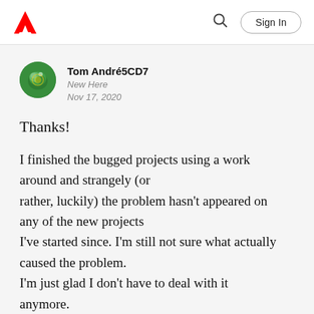Adobe | Sign In
[Figure (logo): Adobe logo (red triangle with stylized A)]
Tom André5CD7
New Here
Nov 17, 2020
Thanks!
I finished the bugged projects using a work around and strangely (or rather, luckily) the problem hasn't appeared on any of the new projects I've started since. I'm still not sure what actually caused the problem. I'm just glad I don't have to deal with it anymore.